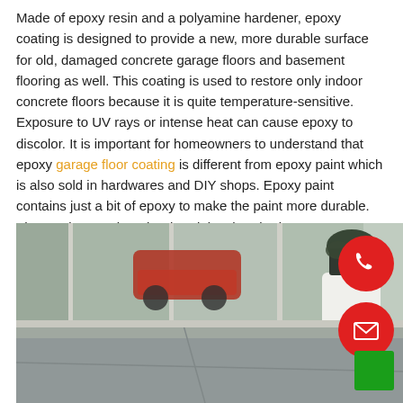Made of epoxy resin and a polyamine hardener, epoxy coating is designed to provide a new, more durable surface for old, damaged concrete garage floors and basement flooring as well. This coating is used to restore only indoor concrete floors because it is quite temperature-sensitive. Exposure to UV rays or intense heat can cause epoxy to discolor. It is important for homeowners to understand that epoxy garage floor coating is different from epoxy paint which is also sold in hardwares and DIY shops. Epoxy paint contains just a bit of epoxy to make the paint more durable. The coating, on the other hand, is a hundred percent epoxy.
[Figure (photo): Photo of a building entrance with large glass windows and doors reflecting a red car in a parking lot, with white planters containing plants on the right side. The floor is a speckled grey epoxy-coated concrete surface with seam lines.]